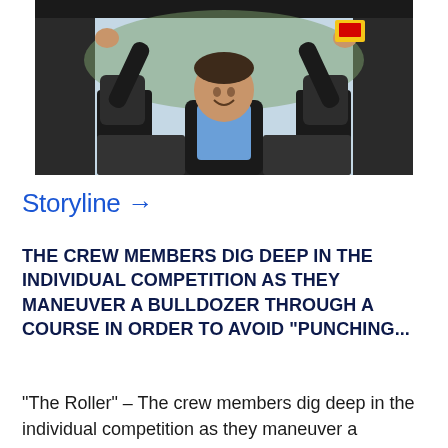[Figure (photo): Person in dark jacket sitting in bulldozer cab with arms raised triumphantly, smiling, interior of heavy machinery visible]
Storyline →
THE CREW MEMBERS DIG DEEP IN THE INDIVIDUAL COMPETITION AS THEY MANEUVER A BULLDOZER THROUGH A COURSE IN ORDER TO AVOID "PUNCHING...
"The Roller" – The crew members dig deep in the individual competition as they maneuver a bulldozer through a course in order to avoid "punching..."